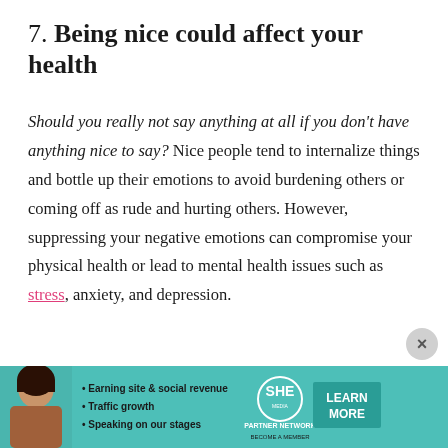7. Being nice could affect your health
Should you really not say anything at all if you don’t have anything nice to say? Nice people tend to internalize things and bottle up their emotions to avoid burdening others or coming off as rude and hurting others. However, suppressing your negative emotions can compromise your physical health or lead to mental health issues such as stress, anxiety, and depression.
[Figure (other): Advertisement banner for SHE Media Partner Network featuring a woman photo, bullet points about earning site & social revenue, traffic growth, speaking on stages, SHE logo, and a Learn More button]